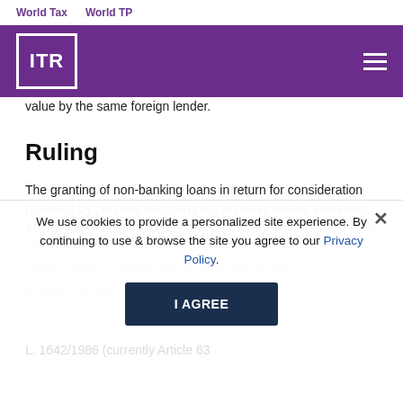World Tax   World TP
[Figure (logo): ITR logo in white on purple background with white border box]
value by the same foreign lender.
Ruling
The granting of non-banking loans in return for consideration (interest) by persons who carry out an independent economic activity falls within the scope of VAT and therefore, according to an explicit provision of law (Article 22(1)(5) of the Greek VAT Code), while still being exempt from stamp duty.
In particular, the imposition of stamp duty on interest-bearing loans by persons with activities within the scope of VAT, has been abolished since January 1 1987 pursuant to Article 57 of L. 1642/1986 (currently Article 63
We use cookies to provide a personalized site experience. By continuing to use & browse the site you agree to our Privacy Policy.